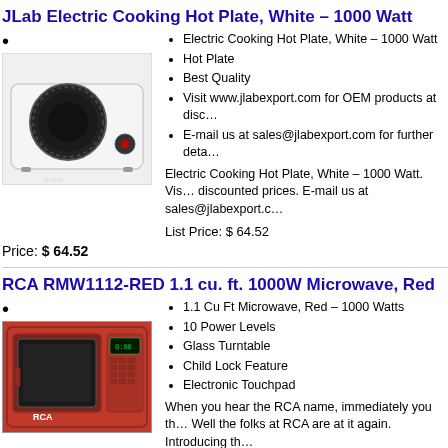JLab Electric Cooking Hot Plate, White – 1000 Watt
[Figure (photo): White electric single burner hot plate with black heating element and knob]
Electric Cooking Hot Plate, White – 1000 Watt
Hot Plate
Best Quality
Visit www.jlabexport.com for OEM products at disc…
E-mail us at sales@jlabexport.com for further deta…
Electric Cooking Hot Plate, White – 1000 Watt. Vis… discounted prices. E-mail us at sales@jlabexport.c…
List Price: $ 64.52
Price: $ 64.52
RCA RMW1112-RED 1.1 cu. ft. 1000W Microwave, Red
[Figure (photo): Red RCA microwave oven with digital display and touchpad]
1.1 Cu Ft Microwave, Red – 1000 Watts
10 Power Levels
Glass Turntable
Child Lock Feature
Electronic Touchpad
When you hear the RCA name, immediately you th… Well the folks at RCA are at it again. Introducing th…